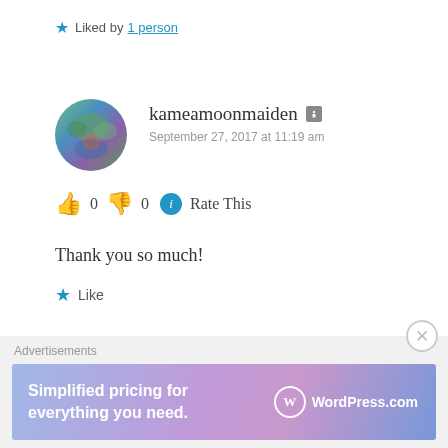Liked by 1 person
[Figure (screenshot): User avatar for kameamoonmaiden - circular profile photo with outdoor/nature background]
kameamoonmaiden
September 27, 2017 at 11:19 am
👍 0 👎 0 ℹ Rate This
Thank you so much!
Like
Advertisements
[Figure (infographic): WordPress.com advertisement banner with text 'Simplified pricing for everything you need.' and WordPress.com logo on gradient purple-blue background]